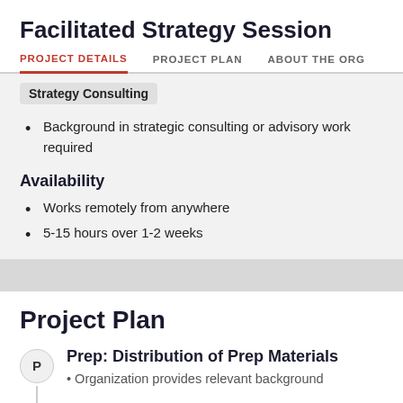Facilitated Strategy Session
PROJECT DETAILS | PROJECT PLAN | ABOUT THE ORG
Strategy Consulting
Background in strategic consulting or advisory work required
Availability
Works remotely from anywhere
5-15 hours over 1-2 weeks
Project Plan
Prep: Distribution of Prep Materials
Organization provides relevant background